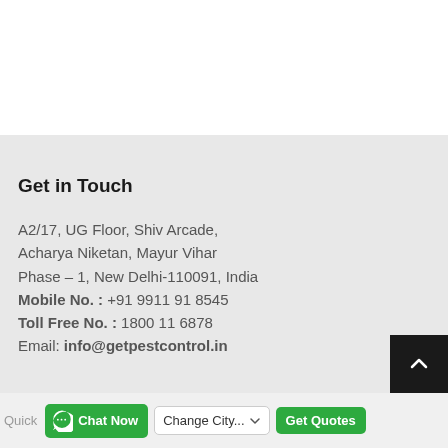Get in Touch
A2/17, UG Floor, Shiv Arcade,
Acharya Niketan, Mayur Vihar
Phase – 1, New Delhi-110091, India
Mobile No. : +91 9911 91 8545
Toll Free No. : 1800 11 6878
Email: info@getpestcontrol.in
Quick  Chat Now  Change City...  Get Quotes